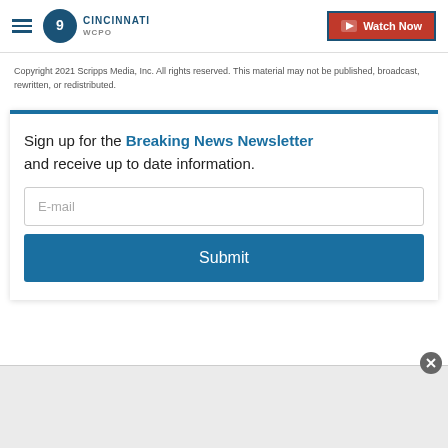WCPO 9 CINCINNATI | Watch Now
Copyright 2021 Scripps Media, Inc. All rights reserved. This material may not be published, broadcast, rewritten, or redistributed.
Sign up for the Breaking News Newsletter and receive up to date information.
[Figure (screenshot): Newsletter signup form with E-mail input field and Submit button]
[Figure (screenshot): Bottom advertisement area with close button]